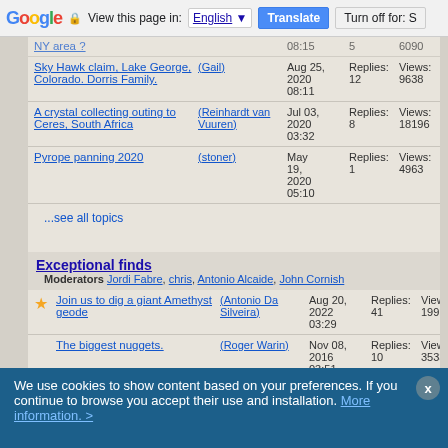Google | View this page in: English | Translate | Turn off for: S
Sky Hawk claim, Lake George, Colorado. Dorris Family. (Gail) Aug 25, 2020 08:11 Replies: 12 Views: 9638
A crystal collecting outing to Ceres, South Africa (Reinhardt van Vuuren) Jul 03, 2020 03:32 Replies: 8 Views: 18196
Pyrope panning 2020 (stoner) May 19, 2020 05:10 Replies: 1 Views: 4963
...see all topics
Exceptional finds
Moderators Jordi Fabre, chris, Antonio Alcaide, John Cornish
Join us to dig a giant Amethyst geode (Antonio Da Silveira) Aug 20, 2022 03:29 Replies: 41 Views: 199110
The biggest nuggets. (Roger Warin) Nov 08, 2016 03:51 Replies: 10 Views: 35339
CROCOITE! A Huge New Pocket From The Adelaide Mine (John) Feb 28, 2014 Replies: Views:
We use cookies to show content based on your preferences. If you continue to browse you accept their use and installation. More information. >